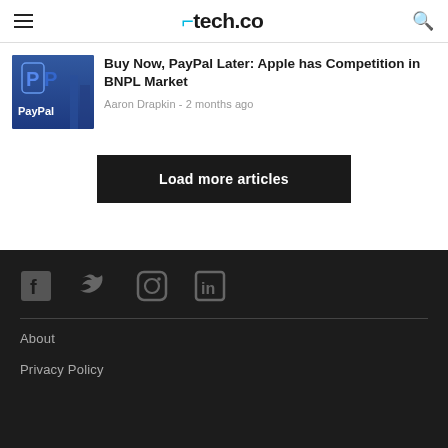tech.co
Buy Now, PayPal Later: Apple has Competition in BNPL Market
Aaron Drapkin - 2 months ago
Load more articles
About | Privacy Policy